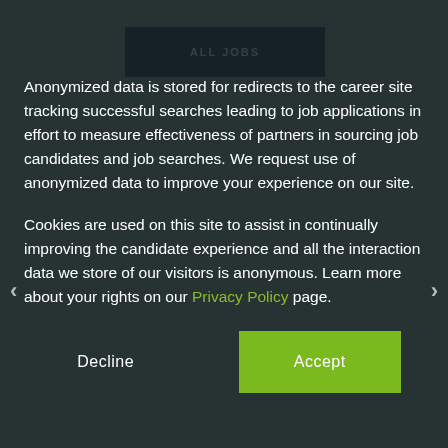ALL JOBS
Anonymized data is stored for redirects to the career site tracking successful searches leading to job applications in effort to measure effectiveness of partners in sourcing job candidates and job searches. We request use of anonymized data to improve your experience on our site.
Cookies are used on this site to assist in continually improving the candidate experience and all the interaction data we store of our visitors is anonymous. Learn more about your rights on our Privacy Policy page.
Decline
Accept